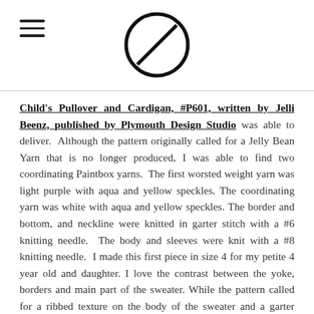[hamburger menu icon] [circular logo icon]
Child's Pullover and Cardigan, #P601, written by Jelli Beenz, published by Plymouth Design Studio was able to deliver. Although the pattern originally called for a Jelly Bean Yarn that is no longer produced, I was able to find two coordinating Paintbox yarns. The first worsted weight yarn was light purple with aqua and yellow speckles. The coordinating yarn was white with aqua and yellow speckles. The border and bottom, and neckline were knitted in garter stitch with a #6 knitting needle. The body and sleeves were knit with a #8 knitting needle. I made this first piece in size 4 for my petite 4 year old and daughter. I love the contrast between the yoke, borders and main part of the sweater. While the pattern called for a ribbed texture on the body of the sweater and a garter stitch on the yoke, the uneven texture of the yarn made it difficult to showcase the ribbing. Therefore, I knitted garter stitch on the borders and the yoke, but I used a simpler stock and net stitch for the body. I was thrilled that